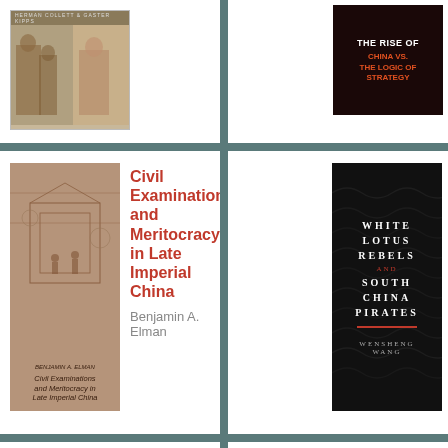[Figure (photo): Book cover: partially visible, historical photo collage with sepia tones, top strip with text]
[Figure (photo): Book cover: dark red background with text 'THE RISE OF CHINA VS. THE LOGIC OF STRATEGY']
[Figure (illustration): Book cover: Civil Examinations and Meritocracy in Late Imperial China by Benjamin A. Elman, brownish-red toned illustration]
Civil Examinations and Meritocracy in Late Imperial China
Benjamin A. Elman
[Figure (illustration): Book cover: White Lotus Rebels and South China Pirates by Wensheng Wang, black with white wave pattern and red accents]
[Figure (illustration): Book cover: Legal Orientalism by Teemu Ruskola, cream/white with red-tinted illustration]
Legal Orientalism: China, the United States, and Modern Law
Teemu Ruskola
[Figure (photo): Book cover: The Rise of the People's Bank of China, orange top with black and white photo below]